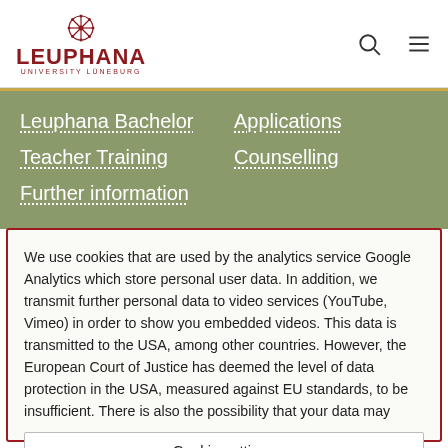[Figure (logo): Leuphana University Lüneburg logo with geometric snowflake icon above bold red LEUPHANA text and small UNIVERSITY LÜNEBURG subtitle]
Leuphana Bachelor | Teacher Training | Further information | Applications | Counselling
We use cookies that are used by the analytics service Google Analytics which store personal user data. In addition, we transmit further personal data to video services (YouTube, Vimeo) in order to show you embedded videos. This data is transmitted to the USA, among other countries. However, the European Court of Justice has deemed the level of data protection in the USA, measured against EU standards, to be insufficient. There is also the possibility that your data may
Cookie settings
I agree
Allow only necessary cookies